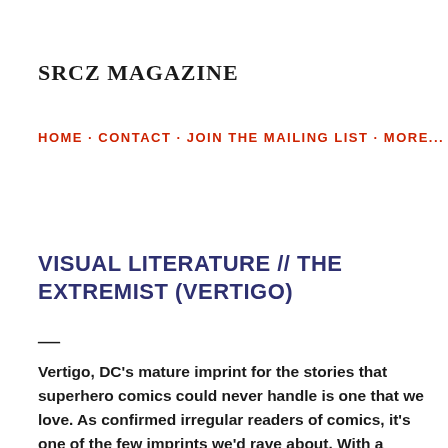SRCZ MAGAZINE
HOME · CONTACT · JOIN THE MAILING LIST · MORE...
VISUAL LITERATURE // THE EXTREMIST (VERTIGO)
—
Vertigo, DC's mature imprint for the stories that superhero comics could never handle is one that we love. As confirmed irregular readers of comics, it's one of the few imprints we'd rave about. With a reissue of the nineties miniseries The Extremist in one very readable deluxe edition as part of